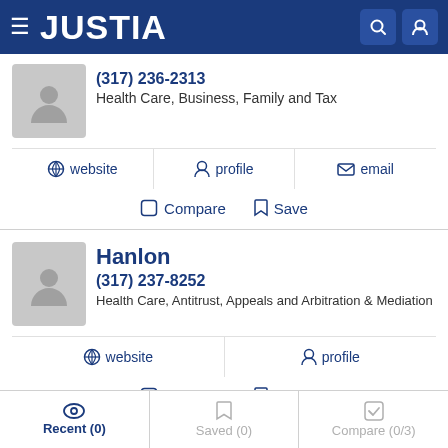JUSTIA
(317) 236-2313
Health Care, Business, Family and Tax
website  profile  email
Compare  Save
Hanlon
(317) 237-8252
Health Care, Antitrust, Appeals and Arbitration & Mediation
website  profile
Compare  Save
Recent (0)  Saved (0)  Compare (0/3)